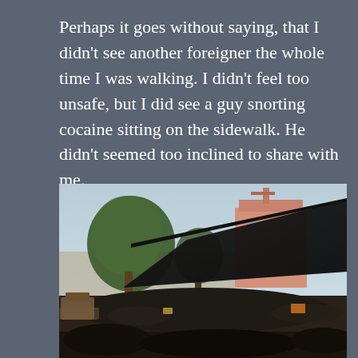Perhaps it goes without saying, that I didn't see another foreigner the whole time I was walking. I didn't feel too unsafe, but I did see a guy snorting cocaine sitting on the sidewalk. He didn't seemed too inclined to share with me.
I also passed a massive motorcycle graveyard.
[Figure (photo): A large outdoor motorcycle graveyard with hundreds of old, rusted motorcycles and vehicles piled up under a dark canopy/tarpaulin. Trees and a pink building are visible in the background under a hazy sky.]